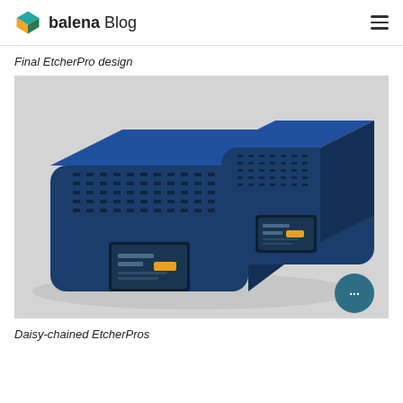balena Blog
Final EtcherPro design
[Figure (photo): Two blue EtcherPro devices daisy-chained together on a light grey background. Both are rectangular with rounded corners, dark navy blue housing, multiple USB port slots along the sides, and small touchscreen displays on the front face showing a UI with yellow accent buttons. The devices are stacked/angled together.]
Daisy-chained EtcherPros